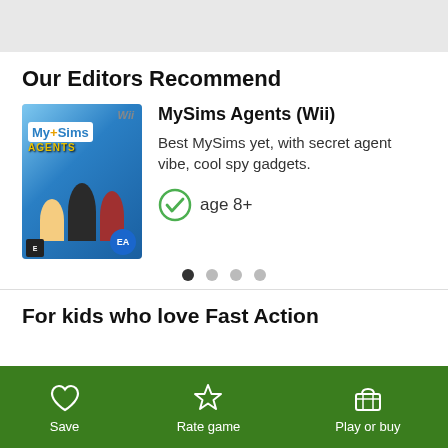Our Editors Recommend
[Figure (illustration): MySims Agents Wii game cover showing cartoon spy characters on a blue background with 'Wii' label, MySims Agents logo, ESRB E badge, and EA logo]
MySims Agents (Wii)
Best MySims yet, with secret agent vibe, cool spy gadgets.
age 8+
For kids who love Fast Action
Save  Rate game  Play or buy